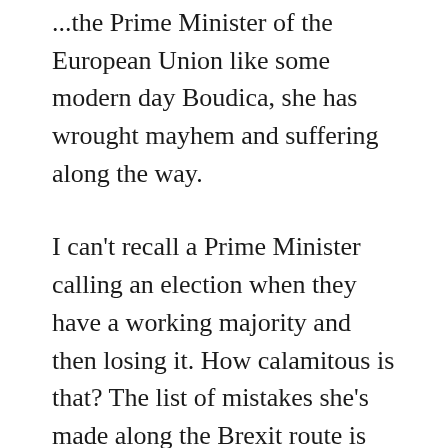...the Prime Minister of the European Union like some modern day Boudica, she has wrought mayhem and suffering along the way.
I can't recall a Prime Minister calling an election when they have a working majority and then losing it. How calamitous is that? The list of mistakes she's made along the Brexit route is endless. Among them, triggering Article 50 when she had no need to. That was a clanger of epic proportions. She could have waited to find a consensus first. But no, she had to rush in like some kindergarten kid looking for its next sugar rush.
Take food banks as an example of her governments attitude to the needy. A good snapshot of how people are feeling the pinch in the Cameron/May Austerity